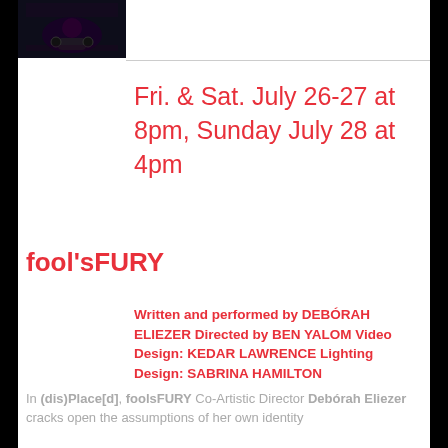[Figure (photo): Dark stage photo showing a person in a wheelchair on a theater stage with dramatic lighting]
Fri. & Sat. July 26-27 at 8pm, Sunday July 28 at 4pm
fool'sFURY
Written and performed by DEBÓRAH ELIEZER Directed by BEN YALOM Video Design: KEDAR LAWRENCE Lighting Design: SABRINA HAMILTON
In (dis)Place[d], foolsFURY Co-Artistic Director Debórah Eliezer cracks open the assumptions of her own identity